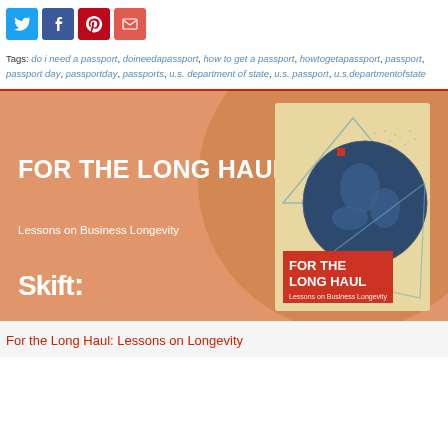[Figure (other): Social media sharing icons: Twitter (blue bird), Facebook (blue f), Pinterest (red P), Email (red envelope)]
Tags: do i need a passport, doineedapassport, how to get a passport, howtogetapassport, passport, passport day, passportday, passports, u.s. department of state, u.s. passport, u.s.departmentofstate
[Figure (illustration): Book advertisement banner with orange background showing 'FOR THE LONG HAUL - Lessons on Business Longevity' with Skift logo and a book cover featuring a globe graphic]
For the Long Haul: Lessons on Longevity